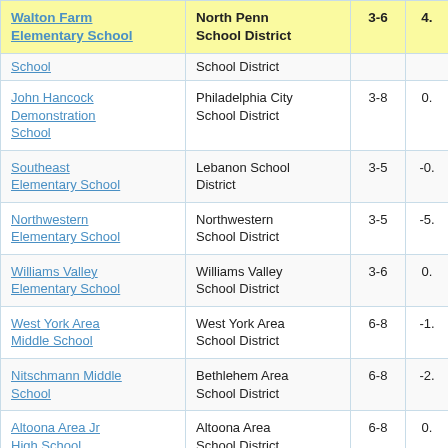| School | District | Grades | Value |
| --- | --- | --- | --- |
| Walton Farm Elementary School | North Penn School District | 3-6 | 4. |
| (School - cut off) | School District |  |  |
| John Hancock Demonstration School | Philadelphia City School District | 3-8 | 0. |
| Southeast Elementary School | Lebanon School District | 3-5 | -0. |
| Northwestern Elementary School | Northwestern School District | 3-5 | -5. |
| Williams Valley Elementary School | Williams Valley School District | 3-6 | 0. |
| West York Area Middle School | West York Area School District | 6-8 | -1. |
| Nitschmann Middle School | Bethlehem Area School District | 6-8 | -2. |
| Altoona Area Jr High School | Altoona Area School District | 6-8 | 0. |